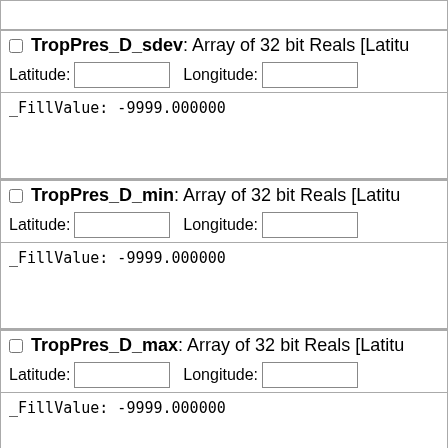(partial top box - continuation from previous page)
TropPres_D_sdev: Array of 32 bit Reals [Latitude = ...]
Latitude: [input] Longitude: [input]
_FillValue: -9999.000000
TropPres_D_min: Array of 32 bit Reals [Latitude = ...]
Latitude: [input] Longitude: [input]
_FillValue: -9999.000000
TropPres_D_max: Array of 32 bit Reals [Latitude = ...]
Latitude: [input] Longitude: [input]
_FillValue: -9999.000000
TropTemp_D: Array of 32 bit Reals [Latitude = ...]
Latitude: [input] Longitude: [input]